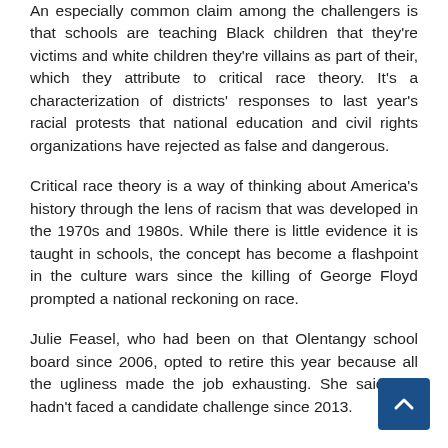An especially common claim among the challengers is that schools are teaching Black children that they're victims and white children they're villains as part of their, which they attribute to critical race theory. It's a characterization of districts' responses to last year's racial protests that national education and civil rights organizations have rejected as false and dangerous.
Critical race theory is a way of thinking about America's history through the lens of racism that was developed in the 1970s and 1980s. While there is little evidence it is taught in schools, the concept has become a flashpoint in the culture wars since the killing of George Floyd prompted a national reckoning on race.
Julie Feasel, who had been on that Olentangy school board since 2006, opted to retire this year because all the ugliness made the job exhausting. She said she hadn't faced a candidate challenge since 2013.